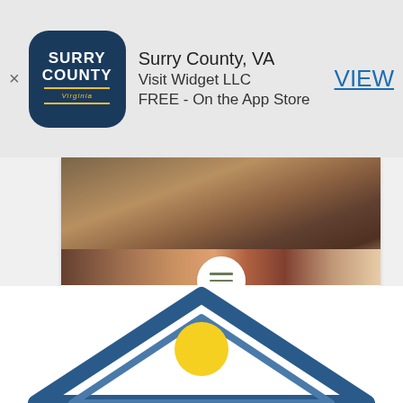[Figure (screenshot): App Store banner with Surry County VA app icon, showing app name, developer Visit Widget LLC, and FREE - On the App Store]
Surry County, VA
Visit Widget LLC
FREE - On the App Store
VIEW
[Figure (photo): Indoor room photo showing a rug on a stone floor with furniture in the background]
Unique Lodging
Learn More
[Figure (illustration): Partial illustration of a house/building graphic with blue roof lines and a sun, visible at bottom of page]